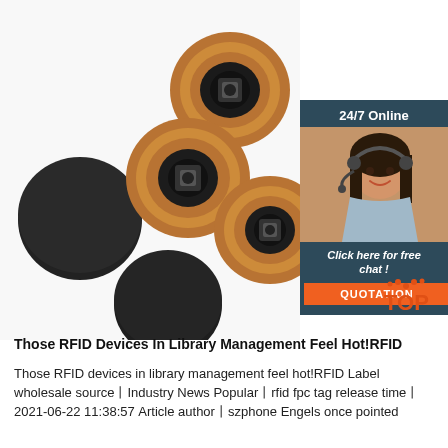[Figure (photo): Five RFID coin-style tags/discs shown scattered — two plain black discs and three showing copper coil antenna with black center component on white background]
[Figure (infographic): 24/7 Online chat widget banner with dark blue/teal background, woman with headset, italic text 'Click here for free chat!' and orange QUOTATION button]
[Figure (illustration): Small orange/red TOP badge icon with dotted arch at top right of page]
Those RFID Devices In Library Management Feel Hot!RFID
Those RFID devices in library management feel hot!RFID Label wholesale source丨Industry News Popular丨rfid fpc tag release time丨2021-06-22 11:38:57 Article author丨szphone Engels once pointed